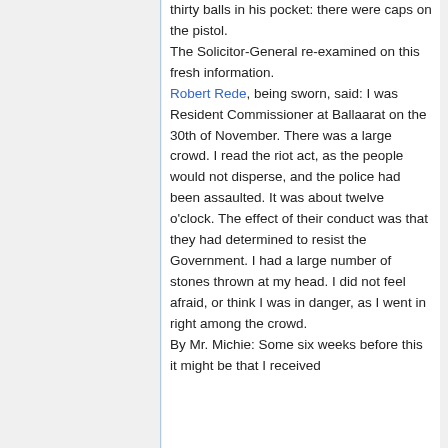thirty balls in his pocket: there were caps on the pistol. The Solicitor-General re-examined on this fresh information. Robert Rede, being sworn, said: I was Resident Commissioner at Ballaarat on the 30th of November. There was a large crowd. I read the riot act, as the people would not disperse, and the police had been assaulted. It was about twelve o'clock. The effect of their conduct was that they had determined to resist the Government. I had a large number of stones thrown at my head. I did not feel afraid, or think I was in danger, as I went in right among the crowd. By Mr. Michie: Some six weeks before this it might be that I received